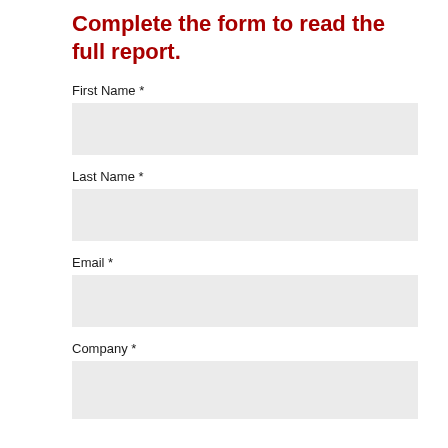Complete the form to read the full report.
First Name *
Last Name *
Email *
Company *